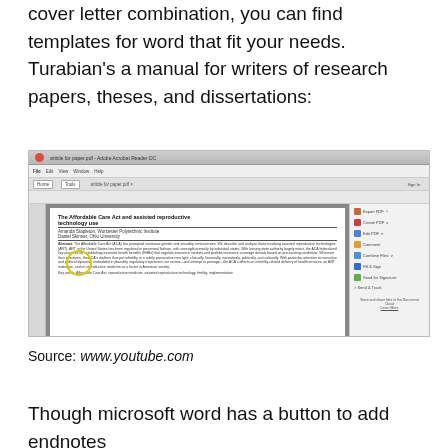cover letter combination, you can find templates for word that fit your needs. Turabian’s a manual for writers of research papers, theses, and dissertations:
[Figure (screenshot): Screenshot of Adobe Acrobat Reader showing a PDF titled 'The Affordable Care Act and assisted reproductive technology use' by Amanda Stapleton, Worcester Polytechnic Institute and Daniel Skinner, Ohio University. The PDF shows an abstract about the ACA and ART. A yellow circle annotation is visible near the authors section. The right panel shows tools: Export PDF, Create PDF, Edit PDF, Comment, Combine Files, Fill & Sign, Send for Signature, Send & Track.]
Source: www.youtube.com
Though microsoft word has a button to add endnotes